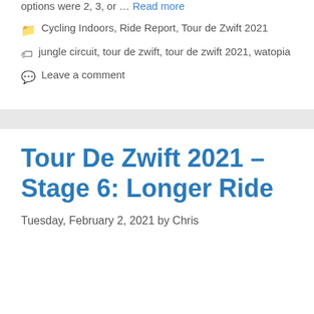options were 2, 3, or … Read more
Cycling Indoors, Ride Report, Tour de Zwift 2021
jungle circuit, tour de zwift, tour de zwift 2021, watopia
Leave a comment
Tour De Zwift 2021 – Stage 6: Longer Ride
Tuesday, February 2, 2021 by Chris